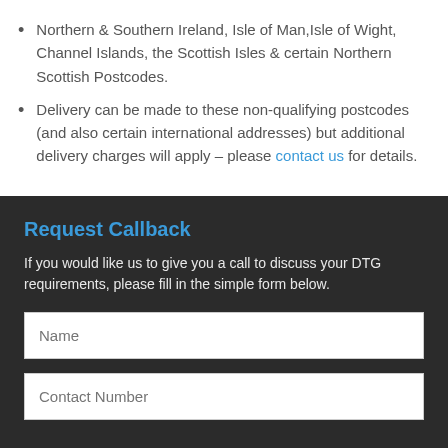Northern & Southern Ireland, Isle of Man, Isle of Wight, Channel Islands, the Scottish Isles & certain Northern Scottish Postcodes.
Delivery can be made to these non-qualifying postcodes (and also certain international addresses) but additional delivery charges will apply – please contact us for details.
Request Callback
If you would like us to give you a call to discuss your DTG requirements, please fill in the simple form below.